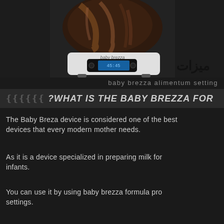[Figure (photo): Baby Brezza formula maker device with dark marbled top and white base with digital display showing time, with Arabic text 'ميزات' (features) in bottom right corner]
baby brezza alimentum setting
WHAT IS THE BABY BREZZA FOR?
The Baby Brezza device is considered one of the best devices that every modern mother needs.
As it is a device specialized in preparing milk for infants.
You can use it by using baby brezza formula pro settings.